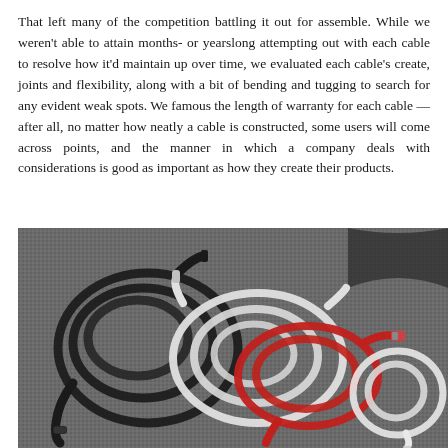That left many of the competition battling it out for assemble. While we weren't able to attain months- or yearslong attempting out with each cable to resolve how it'd maintain up over time, we evaluated each cable's create, joints and flexibility, along with a bit of bending and tugging to search for any evident weak spots. We famous the length of warranty for each cable — after all, no matter how neatly a cable is constructed, some users will come across points, and the manner in which a company deals with considerations is good as important as how they create their products.
[Figure (photo): Overhead photo of multiple coiled cables on a gray fabric surface. Cables include a black braided cable, white cables, a red cable, and a white cable, all coiled and overlapping.]